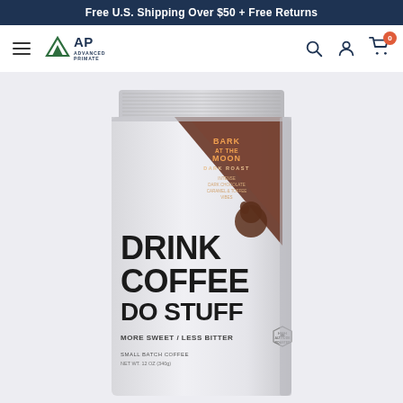Free U.S. Shipping Over $50 + Free Returns
[Figure (logo): Advanced Primate logo with mountain/triangle icon and text]
[Figure (photo): White coffee bag with brown triangle design, text reads BARK AT THE MOON DARK ROAST, DRINK COFFEE DO STUFF, MORE SWEET / LESS BITTER, SMALL BATCH COFFEE, HIGH ALTITUDE ROASTED]